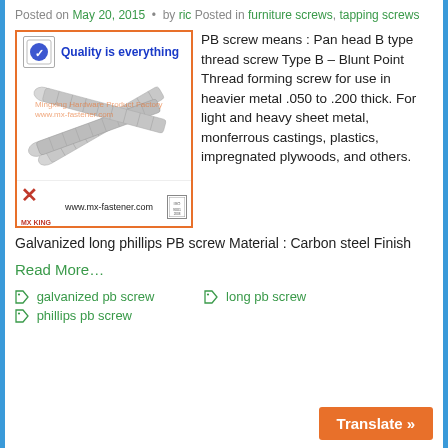Posted on May 20, 2015 • by ric Posted in furniture screws, tapping screws
[Figure (photo): Product image showing long phillips PB screws with 'Quality is everything' banner, MX fastener branding, and 'Professional screw factory- 18 years experience' tagline.]
PB screw means : Pan head B type thread screw Type B – Blunt Point Thread forming screw for use in heavier metal .050 to .200 thick. For light and heavy sheet metal, monferrous castings, plastics, impregnated plywoods, and others.
Galvanized long phillips PB screw Material : Carbon steel Finish
Read More…
galvanized pb screw
long pb screw
phillips pb screw